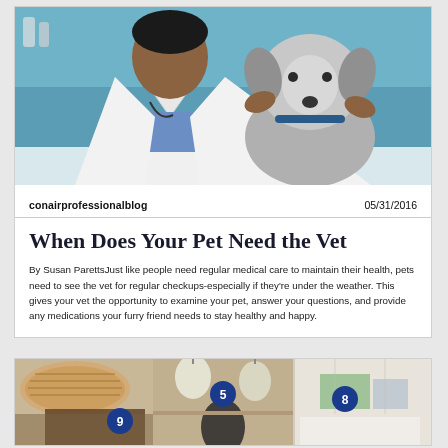[Figure (photo): A veterinarian in a white lab coat examining or holding a dog, with a teal/blue background. The vet is leaning in toward a medium-sized scruffy dog.]
conairprofessionalblog    05/31/2016
When Does Your Pet Need the Vet
By Susan ParettsJust like people need regular medical care to maintain their health, pets need to see the vet for regular checkups-especially if they're under the weather. This gives your vet the opportunity to examine your pet, answer your questions, and provide any medications your furry friend needs to stay healthy and happy.
[Figure (photo): A room interior showing organized shelving/closet area with numbered badges: 9 on the left section, 5 in the middle, and 8 on the right. Includes baskets, pendant lights, and storage boxes.]